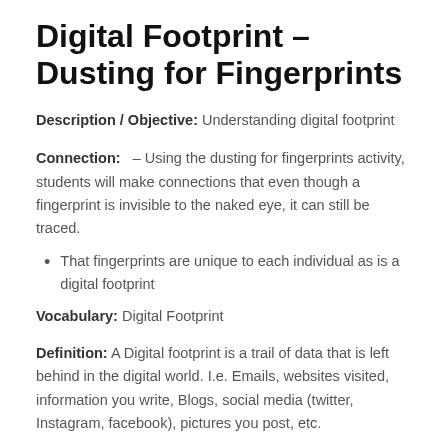Digital Footprint – Dusting for Fingerprints
Description / Objective: Understanding digital footprint
Connection: – Using the dusting for fingerprints activity, students will make connections that even though a fingerprint is invisible to the naked eye, it can still be traced.
That fingerprints are unique to each individual as is a digital footprint
Vocabulary: Digital Footprint
Definition: A Digital footprint is a trail of data that is left behind in the digital world. I.e. Emails, websites visited, information you write, Blogs, social media (twitter, Instagram, facebook), pictures you post, etc.